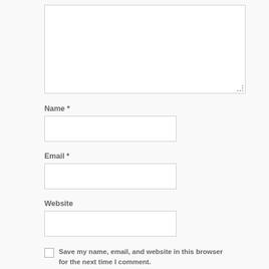[Figure (other): Comment form textarea (large empty input box for comment text)]
Name *
[Figure (other): Name input field (empty text input box)]
Email *
[Figure (other): Email input field (empty text input box)]
Website
[Figure (other): Website input field (empty text input box)]
Save my name, email, and website in this browser for the next time I comment.